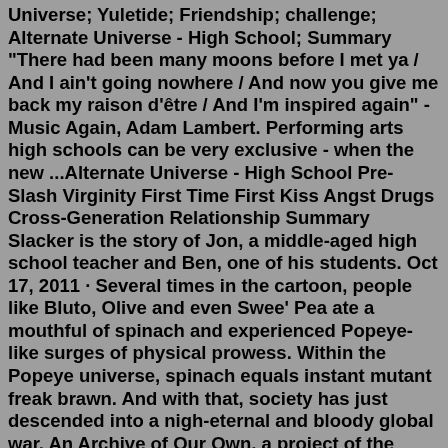Universe; Yuletide; Friendship; challenge; Alternate Universe - High School; Summary "There had been many moons before I met ya / And I ain't going nowhere / And now you give me back my raison d'être / And I'm inspired again" - Music Again, Adam Lambert. Performing arts high schools can be very exclusive - when the new ...Alternate Universe - High School Pre-Slash Virginity First Time First Kiss Angst Drugs Cross-Generation Relationship Summary Slacker is the story of Jon, a middle-aged high school teacher and Ben, one of his students. Oct 17, 2011 · Several times in the cartoon, people like Bluto, Olive and even Swee' Pea ate a mouthful of spinach and experienced Popeye-like surges of physical prowess. Within the Popeye universe, spinach equals instant mutant freak brawn. And with that, society has just descended into a nigh-eternal and bloody global war. An Archive of Our Own, a project of the Organization for Transformative Works Alternate Universe - High School Childhood Friends Making